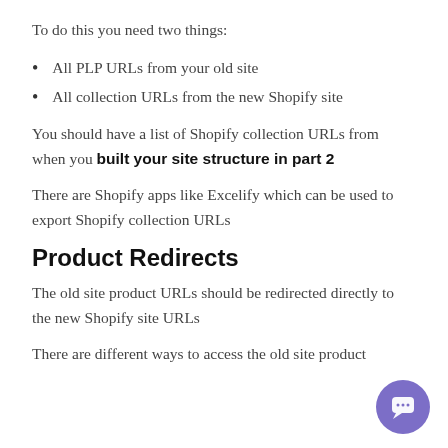To do this you need two things:
All PLP URLs from your old site
All collection URLs from the new Shopify site
You should have a list of Shopify collection URLs from when you built your site structure in part 2
There are Shopify apps like Excelify which can be used to export Shopify collection URLs
Product Redirects
The old site product URLs should be redirected directly to the new Shopify site URLs
There are different ways to access the old site product